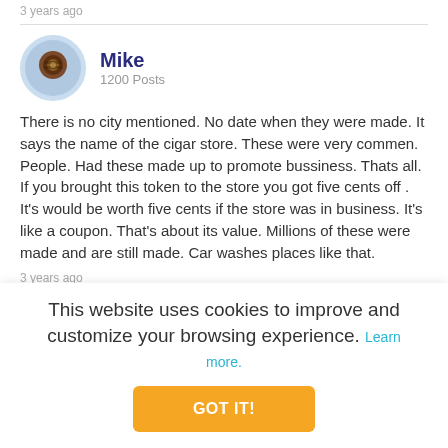3 years ago
Mike
1200 Posts
There is no city mentioned. No date when they were made. It says the name of the cigar store. These were very commen. People. Had these made up to promote bussiness. Thats all. If you brought this token to the store you got five cents off . It's would be worth five cents if the store was in business. It's like a coupon. That's about its value. Millions of these were made and are still made. Car washes places like that.
3 years ago
This website uses cookies to improve and customize your browsing experience. Learn more.